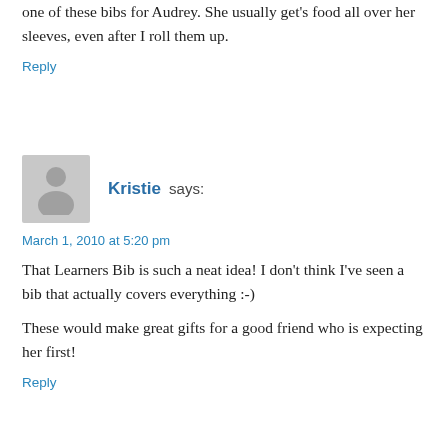one of these bibs for Audrey. She usually get's food all over her sleeves, even after I roll them up.
Reply
[Figure (illustration): Generic user avatar: gray silhouette of a person on gray background]
Kristie says:
March 1, 2010 at 5:20 pm
That Learners Bib is such a neat idea! I don't think I've seen a bib that actually covers everything :-)
These would make great gifts for a good friend who is expecting her first!
Reply